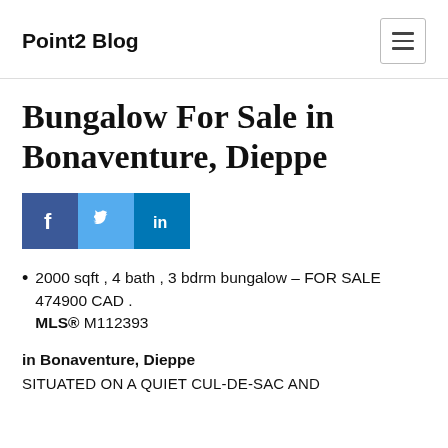Point2 Blog
Bungalow For Sale in Bonaventure, Dieppe
[Figure (other): Social share buttons: Facebook, Twitter, LinkedIn]
2000 sqft , 4 bath , 3 bdrm bungalow – FOR SALE 474900 CAD . MLS® M112393
in Bonaventure, Dieppe
SITUATED ON A QUIET CUL-DE-SAC AND